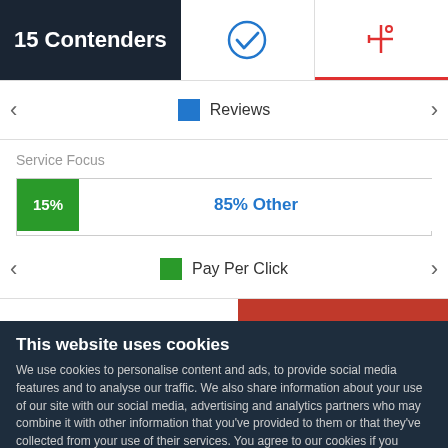15 Contenders
[Figure (infographic): Checkmark icon in circle (blue outline)]
[Figure (infographic): Sliders/filter icon in red with degree symbol, red underline indicating active tab]
Reviews
Service Focus
[Figure (stacked-bar-chart): Service Focus]
Pay Per Click
This website uses cookies
We use cookies to personalise content and ads, to provide social media features and to analyse our traffic. We also share information about your use of our site with our social media, advertising and analytics partners who may combine it with other information that you've provided to them or that they've collected from your use of their services. You agree to our cookies if you continue to use our website.
Close
Show details